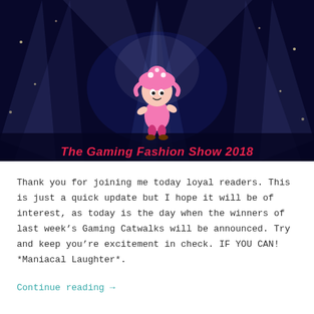[Figure (illustration): Gaming Fashion Show 2018 banner image. Dark blue stage with spotlight beams, a pink Toadette character in the center, and text 'The Gaming Fashion Show 2018' in red/pink italic font at the bottom.]
Thank you for joining me today loyal readers. This is just a quick update but I hope it will be of interest, as today is the day when the winners of last week's Gaming Catwalks will be announced. Try and keep you're excitement in check. IF YOU CAN! *Maniacal Laughter*.
Continue reading →